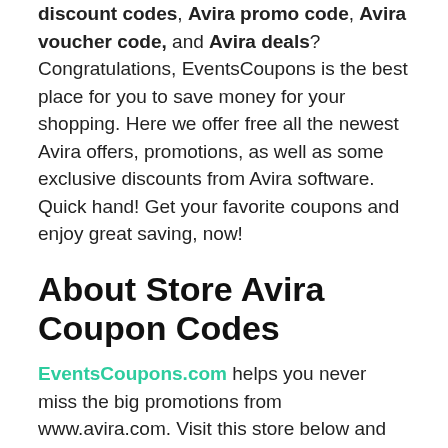discount codes, Avira promo code, Avira voucher code, and Avira deals? Congratulations, EventsCoupons is the best place for you to save money for your shopping. Here we offer free all the newest Avira offers, promotions, as well as some exclusive discounts from Avira software. Quick hand! Get your favorite coupons and enjoy great saving, now!
About Store Avira Coupon Codes
EventsCoupons.com helps you never miss the big promotions from www.avira.com. Visit this store below and pick up your favorite big discount code. You will have the opportunity to save up to 65% Off on your purchase. By using the Avira coupon online, Avira discount coupon, Avira promotion codes on Avira products to check out.
Avira coupon page that provides it...